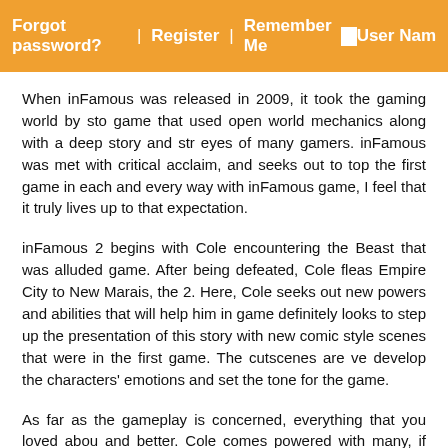Forgot password?  |  Register  |  Remember Me  □  User Nam
When inFamous was released in 2009, it took the gaming world by sto game that used open world mechanics along with a deep story and str eyes of many gamers. inFamous was met with critical acclaim, and seeks out to top the first game in each and every way with inFamous game, I feel that it truly lives up to that expectation.
inFamous 2 begins with Cole encountering the Beast that was alluded game. After being defeated, Cole fleas Empire City to New Marais, the 2. Here, Cole seeks out new powers and abilities that will help him in game definitely looks to step up the presentation of this story with new comic style scenes that were in the first game. The cutscenes are ve develop the characters' emotions and set the tone for the game.
As far as the gameplay is concerned, everything that you loved abou and better. Cole comes powered with many, if not all of the abilities th game and only expands upon those. Not only are his abilities expande refined and feel a lot better than they did in the original inFamous. Fo bolts can be fired normally or rapid fire (on the good side), almost mad